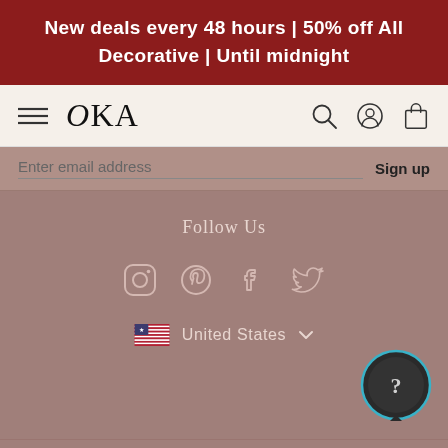New deals every 48 hours | 50% off All Decorative | Until midnight
[Figure (screenshot): OKA brand navigation bar with hamburger menu, OKA logo, search icon, account icon, and shopping bag icon on a light beige background]
Enter email address  Sign up
Follow Us
[Figure (infographic): Social media icons: Instagram, Pinterest, Facebook, Twitter in light pinkish-white outlines]
United States
[Figure (other): Help/chat bubble icon in dark circle with teal ring]
ADD TO CART